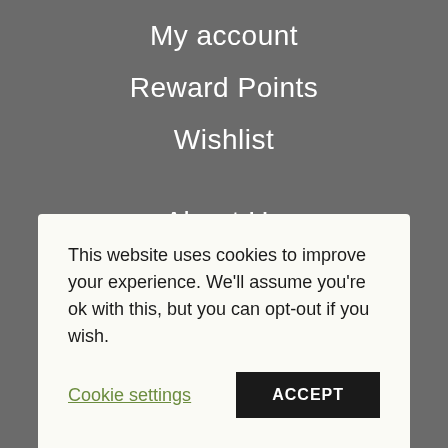My account
Reward Points
Wishlist
About Us
Delivery Information
Legal Disclaimer
Terms and Conditions
This website uses cookies to improve your experience. We'll assume you're ok with this, but you can opt-out if you wish.
Cookie settings
ACCEPT